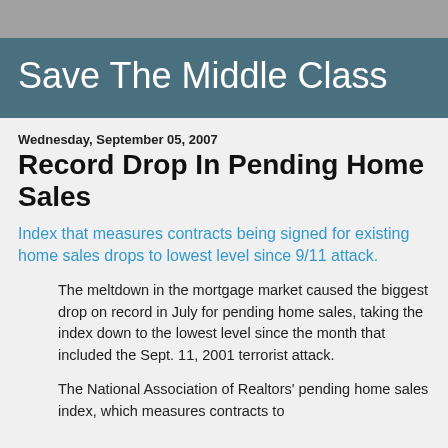Save The Middle Class
Wednesday, September 05, 2007
Record Drop In Pending Home Sales
Index that measures contracts being signed for existing home sales drops to lowest level since 9/11 attack.
The meltdown in the mortgage market caused the biggest drop on record in July for pending home sales, taking the index down to the lowest level since the month that included the Sept. 11, 2001 terrorist attack.
The National Association of Realtors' pending home sales index, which measures contracts to